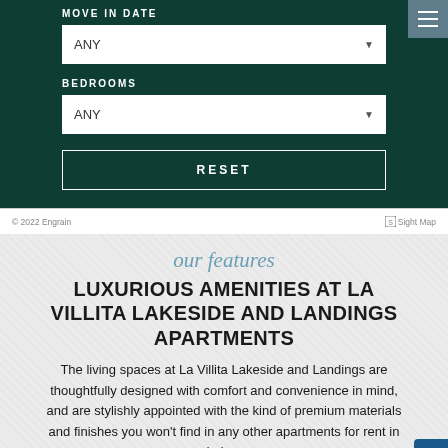MOVE IN DATE
ANY
BEDROOMS
ANY
RESET
© 2022 Engrain    SightMap
our features
LUXURIOUS AMENITIES AT LA VILLITA LAKESIDE AND LANDINGS APARTMENTS
The living spaces at La Villita Lakeside and Landings are thoughtfully designed with comfort and convenience in mind, and are stylishly appointed with the kind of premium materials and finishes you won't find in any other apartments for rent in Irving.